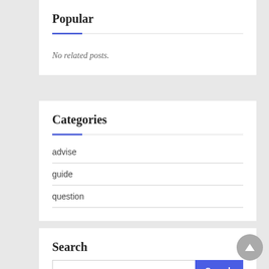Popular
No related posts.
Categories
advise
guide
question
Search